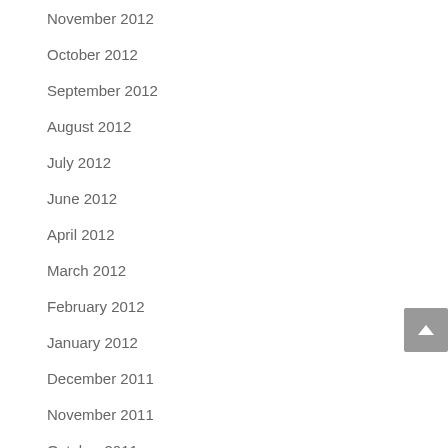November 2012
October 2012
September 2012
August 2012
July 2012
June 2012
April 2012
March 2012
February 2012
January 2012
December 2011
November 2011
October 2011
September 2011
August 2011